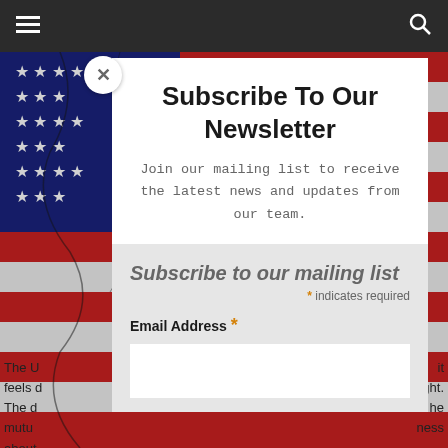[Figure (screenshot): Dark navigation bar with hamburger menu icon on left and search icon on right]
[Figure (photo): American flag background image with cracked texture, red white and blue stripes and stars]
Subscribe To Our Newsletter
Join our mailing list to receive the latest news and updates from our team.
Subscribe to our mailing list
* indicates required
Email Address *
The U it feels d ight. The d he mutu ness about